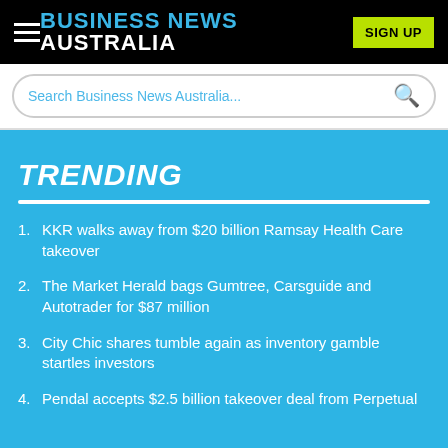BUSINESS NEWS AUSTRALIA
Search Business News Australia...
TRENDING
KKR walks away from $20 billion Ramsay Health Care takeover
The Market Herald bags Gumtree, Carsguide and Autotrader for $87 million
City Chic shares tumble again as inventory gamble startles investors
Pendal accepts $2.5 billion takeover deal from Perpetual